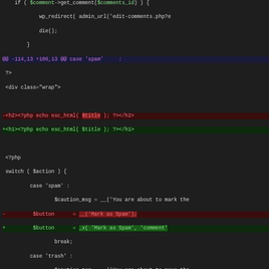[Figure (screenshot): Diff view of PHP code in a dark-themed code editor, showing additions and deletions with green/red highlighting. Lines include hunk headers, HTML changes, PHP switch statement modifications, and echo statement changes.]